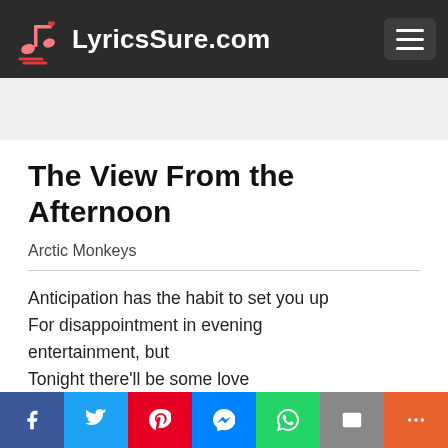LyricsSure.com
The View From the Afternoon
Arctic Monkeys
Anticipation has the habit to set you up
For disappointment in evening entertainment, but
Tonight there'll be some love
Tonight there'll be a rawkus, yeah, regardless of what's gone before
I want to see all of the things that we've
Social share bar: Facebook, Twitter, Pinterest, Messenger, WhatsApp, Email, More